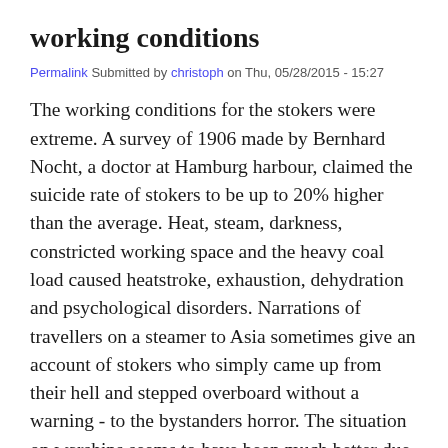working conditions
Permalink Submitted by christoph on Thu, 05/28/2015 - 15:27
The working conditions for the stokers were extreme. A survey of 1906 made by Bernhard Nocht, a doctor at Hamburg harbour, claimed the suicide rate of stokers to be up to 20% higher than the average. Heat, steam, darkness, constricted working space and the heavy coal load caused heatstroke, exhaustion, dehydration and psychological disorders. Narrations of travellers on a steamer to Asia sometimes give an account of stokers who simply came up from their hell and stepped overboard without a warning - to the bystanders horror. The situation on warships seems to have been much better due to restricted working hours. Many steamship companies employed Chinese stokers.